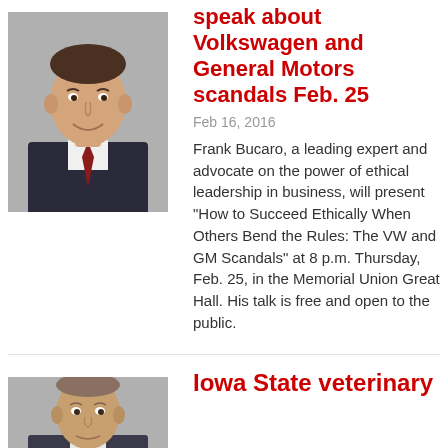[Figure (photo): Headshot of Frank Bucaro, a man in a dark suit with a red tie, smiling]
speak about Volkswagen and General Motors scandals Feb. 25
Feb 16, 2016
Frank Bucaro, a leading expert and advocate on the power of ethical leadership in business, will present "How to Succeed Ethically When Others Bend the Rules: The VW and GM Scandals" at 8 p.m. Thursday, Feb. 25, in the Memorial Union Great Hall. His talk is free and open to the public.
[Figure (photo): Headshot of a man, partial view, related to Iowa State veterinary article]
Iowa State veterinary